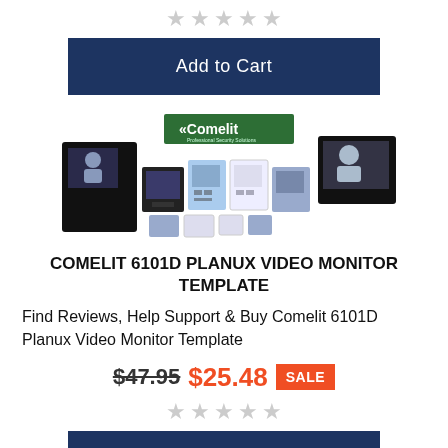[Figure (other): 5 gray star rating icons in a row, centered at top of page]
[Figure (other): Add to Cart navy button, centered]
[Figure (photo): Comelit product collage showing various video monitors and intercom panels with Comelit logo banner]
COMELIT 6101D PLANUX VIDEO MONITOR TEMPLATE
Find Reviews, Help Support & Buy Comelit 6101D Planux Video Monitor Template
$47.95  $25.48  SALE
[Figure (other): 5 gray star rating icons in a row, centered]
[Figure (other): Add to Cart navy button, centered]
[Figure (photo): Comelit product collage (partial, cropped at bottom) showing various video monitors and intercom panels with Comelit logo banner]